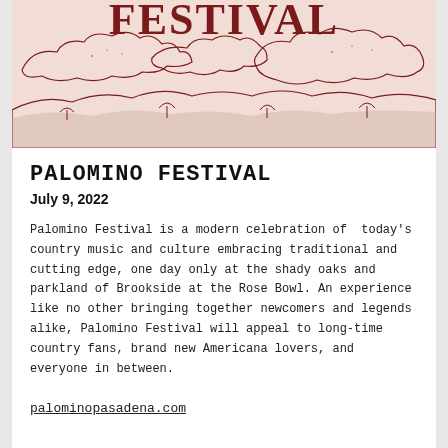[Figure (illustration): Festival banner with decorative western-style 'FESTIVAL' text in dark red/maroon serif font at top, with illustrated clouds and rolling hills/landscape in a sketchy line-art style on a pink/peach background.]
PALOMINO FESTIVAL
July 9, 2022
Palomino Festival is a modern celebration of  today's country music and culture embracing traditional and cutting edge, one day only at the shady oaks and parkland of Brookside at the Rose Bowl. An experience like no other bringing together newcomers and legends alike, Palomino Festival will appeal to long-time country fans, brand new Americana lovers, and everyone in between.
palominopasadena.com